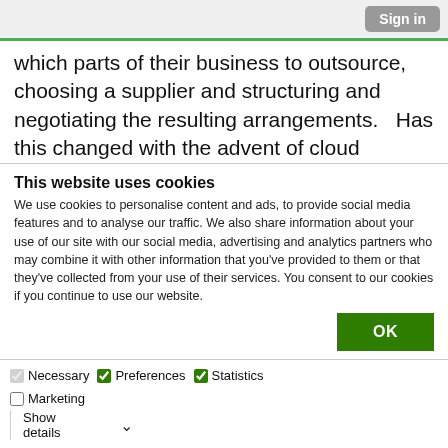Sign in
which parts of their business to outsource, choosing a supplier and structuring and negotiating the resulting arrangements.   Has this changed with the advent of cloud computing?
By virtue of the nature of cloud services, the customer's data, processing facilities and software reside outside the physical control of the customer
This website uses cookies
We use cookies to personalise content and ads, to provide social media features and to analyse our traffic. We also share information about your use of our site with our social media, advertising and analytics partners who may combine it with other information that you've provided to them or that they've collected from your use of their services. You consent to our cookies if you continue to use our website.
OK
Necessary  Preferences  Statistics  Marketing  Show details